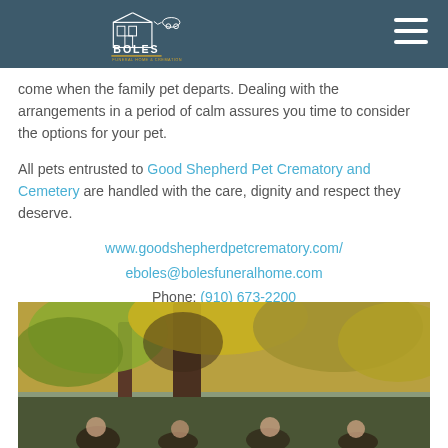Boles Funeral Home - Navigation Header with Logo
come when the family pet departs. Dealing with the arrangements in a period of calm assures you time to consider the options for your pet.
All pets entrusted to Good Shepherd Pet Crematory and Cemetery are handled with the care, dignity and respect they deserve.
www.goodshepherdpetcrematory.com/
eboles@bolesfuneralhome.com
Phone: (910) 673-2200
[Figure (photo): Outdoor autumn photo of people gathered under a large oak tree with golden and green foliage]